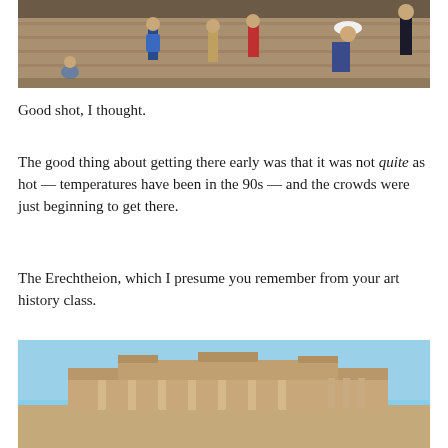[Figure (photo): Tourists visiting ancient Greek ruins, stone seating steps visible in background, woman in white hat prominent on right side]
Good shot, I thought.
The good thing about getting there early was that it was not quite as hot — temperatures have been in the 90s — and the crowds were just beginning to get there.
The Erechtheion, which I presume you remember from your art history class.
[Figure (photo): The Erechtheion ancient Greek temple on the Acropolis, showing columns and ruins against a blue sky]